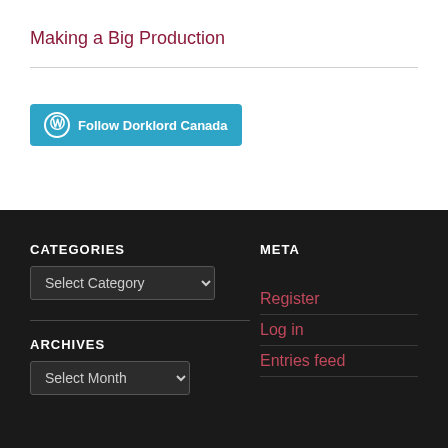Making a Big Production
[Figure (other): WordPress Follow button: blue rounded button with WordPress logo icon and text 'Follow Dorklord Canada']
CATEGORIES
META
Select Category (dropdown)
Register
ARCHIVES
Log in
Select Month (dropdown)
Entries feed